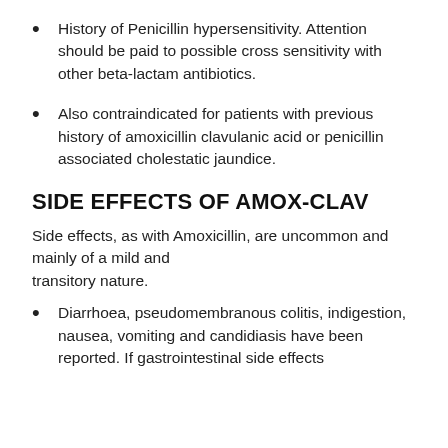History of Penicillin hypersensitivity. Attention should be paid to possible cross sensitivity with other beta-lactam antibiotics.
Also contraindicated for patients with previous history of amoxicillin clavulanic acid or penicillin associated cholestatic jaundice.
SIDE EFFECTS OF AMOX-CLAV
Side effects, as with Amoxicillin, are uncommon and mainly of a mild and transitory nature.
Diarrhoea, pseudomembranous colitis, indigestion, nausea, vomiting and candidiasis have been reported. If gastrointestinal side effects